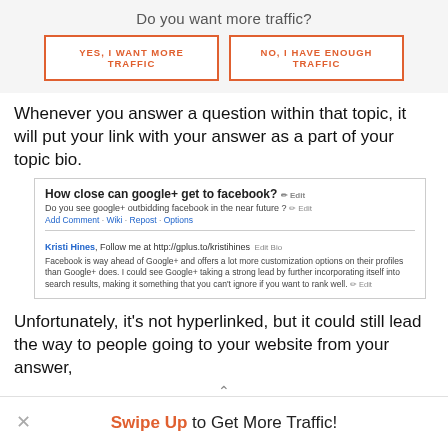Do you want more traffic?
YES, I WANT MORE TRAFFIC
NO, I HAVE ENOUGH TRAFFIC
Whenever you answer a question within that topic, it will put your link with your answer as a part of your topic bio.
[Figure (screenshot): Screenshot of a Quora question page showing 'How close can google+ get to facebook?' with an answer by Kristi Hines mentioning her website URL in her topic bio.]
Unfortunately, it's not hyperlinked, but it could still lead the way to people going to your website from your answer,
Swipe Up to Get More Traffic!